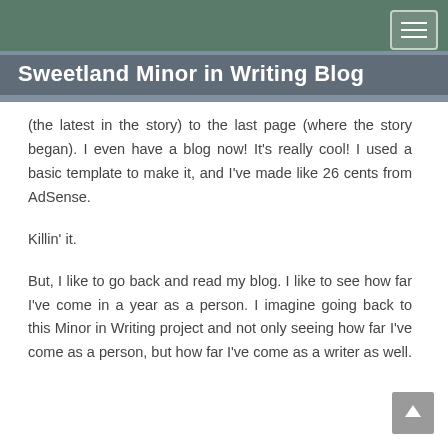[Figure (photo): Mosaic collage banner of various photos serving as the blog header background]
Sweetland Minor in Writing Blog
(the latest in the story) to the last page (where the story began). I even have a blog now! It’s really cool! I used a basic template to make it, and I’ve made like 26 cents from AdSense.
Killin’ it.
But, I like to go back and read my blog. I like to see how far I’ve come in a year as a person. I imagine going back to this Minor in Writing project and not only seeing how far I’ve come as a person, but how far I’ve come as a writer as well.